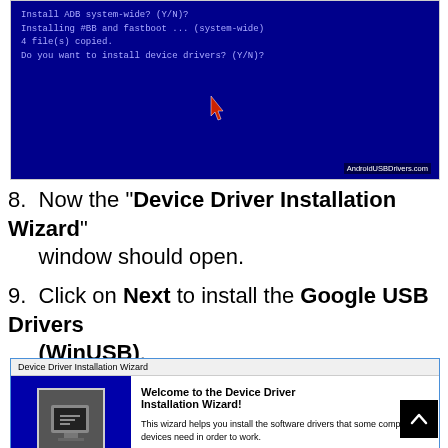[Figure (screenshot): Blue terminal/command prompt screen showing ADB installation commands and 'Do you want to install device drivers? (Y/N)?' prompt with red arrow cursor. Watermark: AndroidUSBDrivers.com]
8. Now the "Device Driver Installation Wizard" window should open.
9. Click on Next to install the Google USB Drivers (WinUSB).
[Figure (screenshot): Device Driver Installation Wizard window with blue sidebar showing a computer/driver icon, title 'Welcome to the Device Driver Installation Wizard!' and text 'This wizard helps you install the software drivers that some computers devices need in order to work.']